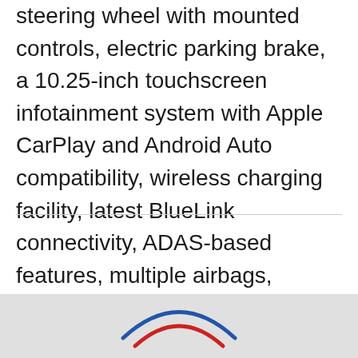steering wheel with mounted controls, electric parking brake, a 10.25-inch touchscreen infotainment system with Apple CarPlay and Android Auto compatibility, wireless charging facility, latest BlueLink connectivity, ADAS-based features, multiple airbags, panoramic sunroof, etc.
[Figure (logo): Hyundai logo - two overlapping arcs, one blue and one red, on a light gray background at the bottom of the page]